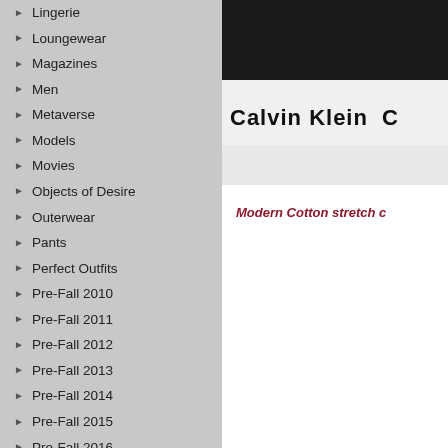Lingerie
Loungewear
Magazines
Men
Metaverse
Models
Movies
Objects of Desire
Outerwear
Pants
Perfect Outfits
Pre-Fall 2010
Pre-Fall 2011
Pre-Fall 2012
Pre-Fall 2013
Pre-Fall 2014
Pre-Fall 2015
Pre-Fall 2016
Pre-Fall 2017
Pre-Fall 2018
Pre-fall 2019
Pre-fall 2020
Pre-Fall 2021
[Figure (photo): Calvin Klein underwear waistband photo showing 'Calvin Klein' logo text on white elastic band against dark fabric]
Modern Cotton stretch c